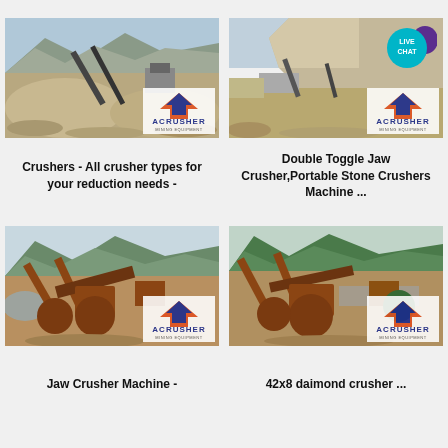[Figure (photo): Quarry/mining site with conveyor belts, rock piles and mountain in background, ACRUSHER Mining Equipment logo overlay]
Crushers - All crusher types for your reduction needs -
[Figure (photo): Open pit quarry/mining site with heavy equipment, rock face cliff, ACRUSHER Mining Equipment logo overlay, LIVE CHAT badge]
Double Toggle Jaw Crusher,Portable Stone Crushers Machine ...
[Figure (photo): Mining/crushing plant with conveyor belts and machinery by river with green mountains, ACRUSHER Mining Equipment logo overlay]
Jaw Crusher Machine -
[Figure (photo): Mining/crushing plant with conveyor belts and machinery, green mountains background, ACRUSHER Mining Equipment logo overlay]
42x8 daimond crusher ...